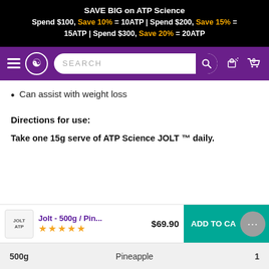SAVE BIG on ATP Science Spend $100, Save 10% = 10ATP | Spend $200, Save 15% = 15ATP | Spend $300, Save 20% = 20ATP
[Figure (screenshot): Purple navigation bar with hamburger menu, ATP Science logo, search bar, gift icon, and shopping cart with 0 items]
Can assist with weight loss
Directions for use:
Take one 15g serve of ATP Science JOLT ™ daily.
[Figure (screenshot): Add to cart bar showing Jolt - 500g / Pin... product with 5-star rating, $69.90 price, and teal ADD TO CART button]
500g    Pineapple    1